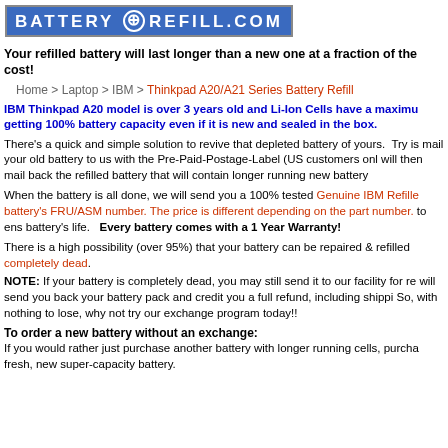BATTERY + REFILL.COM
Your refilled battery will last longer than a new one at a fraction of the cost!
Home > Laptop > IBM > Thinkpad A20/A21 Series Battery Refill
IBM Thinkpad A20 model is over 3 years old and Li-Ion Cells have a maximum getting 100% battery capacity even if it is new and sealed in the box.
There's a quick and simple solution to revive that depleted battery of yours. Try is mail your old battery to us with the Pre-Paid-Postage-Label (US customers only will then mail back the refilled battery that will contain longer running new battery
When the battery is all done, we will send you a 100% tested Genuine IBM Refille battery's FRU/ASM number. The price is different depending on the part number. to ens battery's life. Every battery comes with a 1 Year Warranty!
There is a high possibility (over 95%) that your battery can be repaired & refilled completely dead.
NOTE: If your battery is completely dead, you may still send it to our facility for re will send you back your battery pack and credit you a full refund, including shippi So, with nothing to lose, why not try our exchange program today!!
To order a new battery without an exchange:
If you would rather just purchase another battery with longer running cells, purcha fresh, new super-capacity battery.